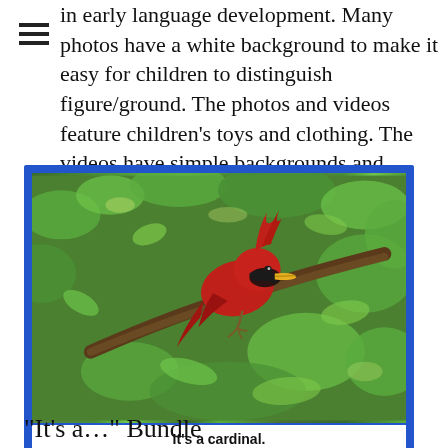≡
in early language development. Many photos have a white background to make it easy for children to distinguish figure/ground. The photos and videos feature children's toys and clothing. The videos have simple backgrounds and feature children as actors.
[Figure (photo): A red cardinal bird perched on a branch surrounded by green foliage, with a caption bar reading 'It's a cardinal.']
It's a cardinal.
"It's a…" Bundle